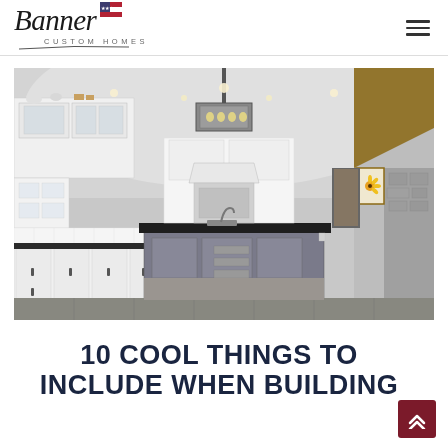Banner Custom Homes
[Figure (photo): Interior photo of a custom-built kitchen featuring a large dark-topped island with gray cabinetry, white perimeter cabinets, a rectangular pendant light fixture, exposed wood beam, hardwood-style tile flooring, and a sunflower painting on the far wall.]
10 COOL THINGS TO INCLUDE WHEN BUILDING